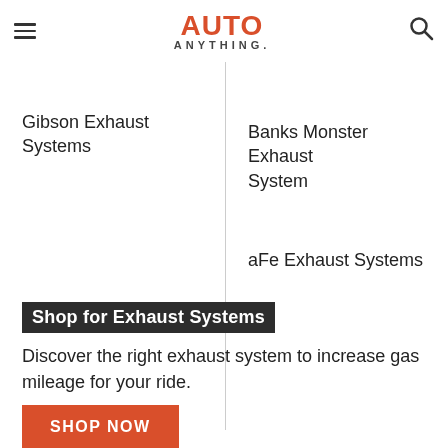AUTO ANYTHING.
Gibson Exhaust Systems
Banks Monster Exhaust System
aFe Exhaust Systems
Shop for Exhaust Systems
Discover the right exhaust system to increase gas mileage for your ride.
SHOP NOW